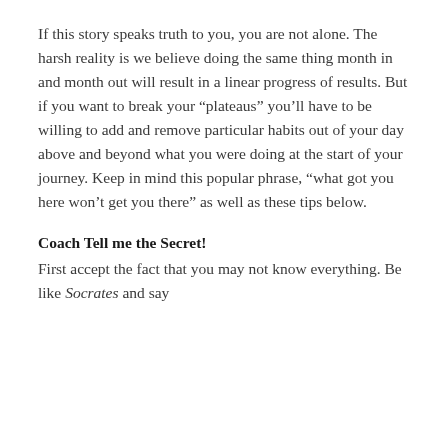If this story speaks truth to you, you are not alone. The harsh reality is we believe doing the same thing month in and month out will result in a linear progress of results. But if you want to break your “plateaus” you’ll have to be willing to add and remove particular habits out of your day above and beyond what you were doing at the start of your journey. Keep in mind this popular phrase, “what got you here won’t get you there” as well as these tips below.
Coach Tell me the Secret!
First accept the fact that you may not know everything. Be like Socrates and say